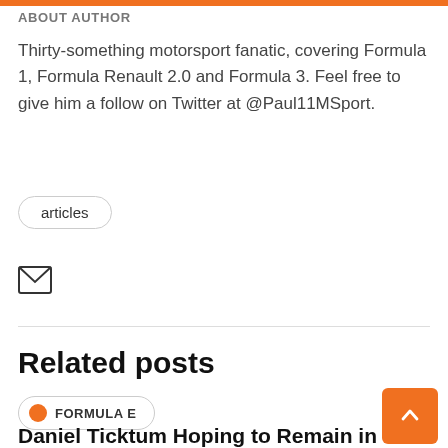ABOUT AUTHOR
Thirty-something motorsport fanatic, covering Formula 1, Formula Renault 2.0 and Formula 3. Feel free to give him a follow on Twitter at @Paul11MSport.
articles
[Figure (other): Email envelope icon]
Related posts
FORMULA E
Daniel Ticktum Hoping to Remain in Formula E with NIO 333 for Season